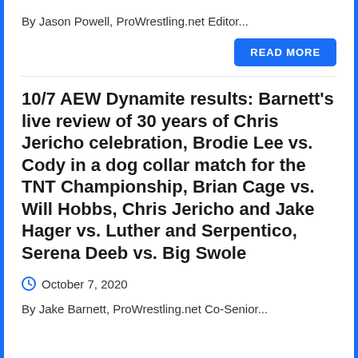By Jason Powell, ProWrestling.net Editor...
READ MORE
10/7 AEW Dynamite results: Barnett's live review of 30 years of Chris Jericho celebration, Brodie Lee vs. Cody in a dog collar match for the TNT Championship, Brian Cage vs. Will Hobbs, Chris Jericho and Jake Hager vs. Luther and Serpentico, Serena Deeb vs. Big Swole
October 7, 2020
By Jake Barnett, ProWrestling.net Co-Senior...